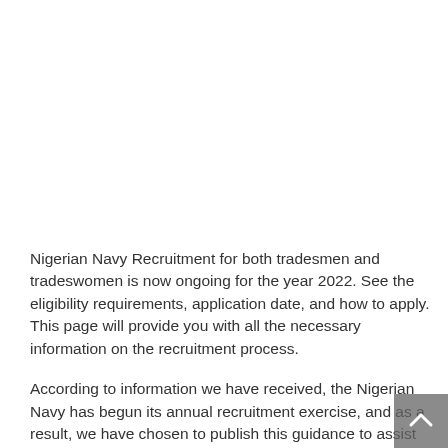Nigerian Navy Recruitment for both tradesmen and tradeswomen is now ongoing for the year 2022. See the eligibility requirements, application date, and how to apply. This page will provide you with all the necessary information on the recruitment process.
According to information we have received, the Nigerian Navy has begun its annual recruitment exercise, and as a result, we have chosen to publish this guidance to assist